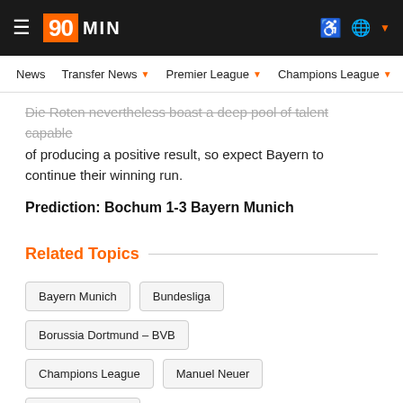90MIN — News | Transfer News | Premier League | Champions League | Eu...
Die Roten nevertheless boast a deep pool of talent capable of producing a positive result, so expect Bayern to continue their winning run.
Prediction: Bochum 1-3 Bayern Munich
Related Topics
Bayern Munich
Bundesliga
Borussia Dortmund – BVB
Champions League
Manuel Neuer
Alphonso Davies